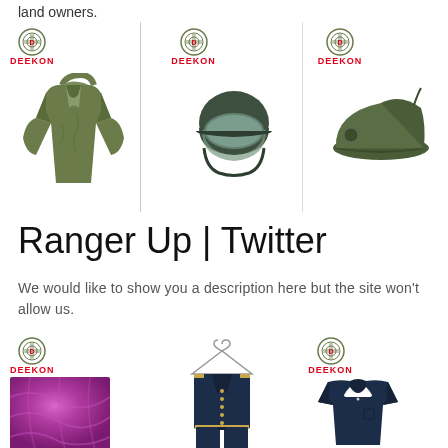land owners.
[Figure (photo): Three product images from DEEKON: military/tactical jacket (olive green), riot helmet (dark green with visor), and military beret (olive green)]
Ranger Up | Twitter
We would like to show you a description here but the site won't allow us.
[Figure (photo): Three product images from DEEKON: magenta/purple fabric textile, dark navy uniform on hanger, and navy polo shirt]